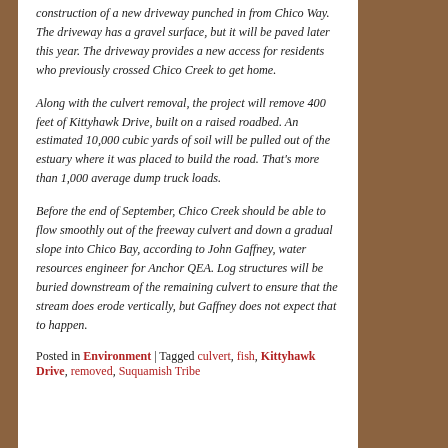construction of a new driveway punched in from Chico Way. The driveway has a gravel surface, but it will be paved later this year. The driveway provides a new access for residents who previously crossed Chico Creek to get home.
Along with the culvert removal, the project will remove 400 feet of Kittyhawk Drive, built on a raised roadbed. An estimated 10,000 cubic yards of soil will be pulled out of the estuary where it was placed to build the road. That's more than 1,000 average dump truck loads.
Before the end of September, Chico Creek should be able to flow smoothly out of the freeway culvert and down a gradual slope into Chico Bay, according to John Gaffney, water resources engineer for Anchor QEA. Log structures will be buried downstream of the remaining culvert to ensure that the stream does erode vertically, but Gaffney does not expect that to happen.
Posted in Environment | Tagged culvert, fish, Kittyhawk Drive, removed, Suquamish Tribe